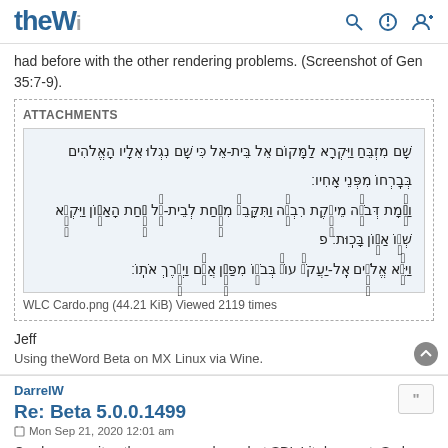theW [logo with search, power, and user icons]
had before with the other rendering problems. (Screenshot of Gen 35:7-9).
[Figure (screenshot): Attachments box with Hebrew text screenshot labeled 'WLC Cardo.png (44.21 KiB) Viewed 2119 times']
Jeff
Using theWord Beta on MX Linux via Wine.
DarrelW
Re: Beta 5.0.0.1499
Mon Sep 21, 2020 12:01 am
Cardo overwrites the verse numbers, but SBL Lit does not. So how to fix the rendering tip...